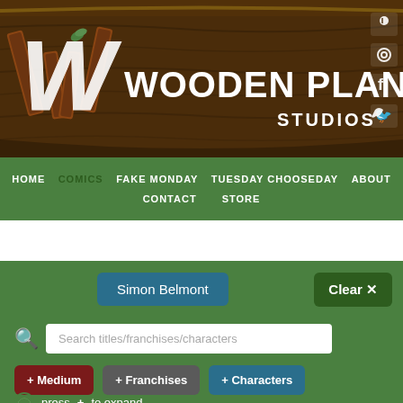[Figure (logo): Wooden Plank Studios logo with stylized W letter made of wooden planks and text 'WOODEN PLANK STUDIOS' on a dark wood-grain background]
HOME  COMICS  FAKE MONDAY  TUESDAY CHOOSEDAY  ABOUT  CONTACT  STORE
Simon Belmont
Clear ✗
Search titles/franchises/characters
+ Medium  + Franchises  + Characters
press + to expand